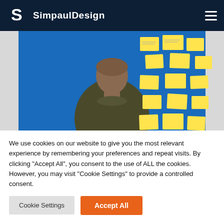SimpaulDesign
[Figure (photo): Person viewed from behind looking at a blue wall covered with yellow sticky notes]
We use cookies on our website to give you the most relevant experience by remembering your preferences and repeat visits. By clicking "Accept All", you consent to the use of ALL the cookies. However, you may visit "Cookie Settings" to provide a controlled consent.
Cookie Settings | Accept All